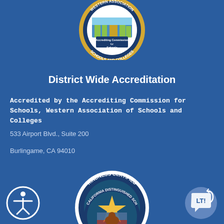[Figure (logo): WASC Accrediting Commission for Schools and Colleges circular seal, partially visible at top]
District Wide Accreditation
Accredited by the Accrediting Commission for Schools, Western Association of Schools and Colleges
533 Airport Blvd., Suite 200
Burlingame, CA 94010
[Figure (logo): Kindness Certified School District circular seal with dove and heart/globe design]
[Figure (logo): Accessibility icon - circular button with person figure]
[Figure (logo): California Distinguished School seal, partially visible at bottom]
[Figure (logo): LTI chat/translate circular icon button]